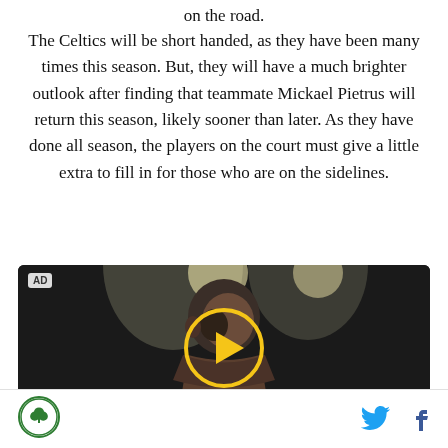on the road.
The Celtics will be short handed, as they have been many times this season. But, they will have a much brighter outlook after finding that teammate Mickael Pietrus will return this season, likely sooner than later. As they have done all season, the players on the court must give a little extra to fill in for those who are on the sidelines.
[Figure (screenshot): Video player with AD badge showing a basketball player (boxer?) under arena lights with a yellow circular play button overlay on a dark background]
[Figure (logo): Green circular logo with shamrock/clover leaf, likely Boston Celtics fan site logo]
[Figure (other): Twitter bird icon in blue and Facebook 'f' icon in dark blue, social sharing buttons]